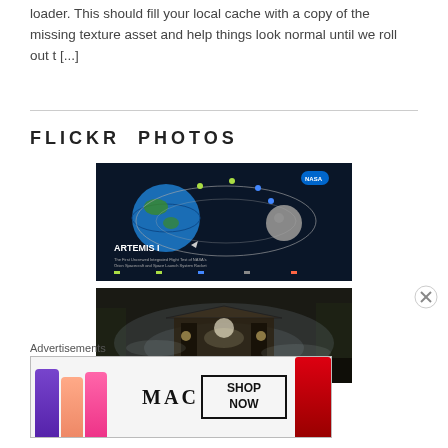loader. This should fill your local cache with a copy of the missing texture asset and help things look normal until we roll out t [...]
FLICKR PHOTOS
[Figure (infographic): Artemis I mission infographic from NASA showing the orbital path of the Orion spacecraft around Earth and the Moon, with trajectory details and mission milestones labeled.]
[Figure (photo): A dimly lit forest or outdoor scene with a shelter structure, atmospheric lighting with fog or mist effects.]
Advertisements
[Figure (other): MAC Cosmetics advertisement banner showing colorful lipsticks, MAC logo, and a SHOP NOW button.]